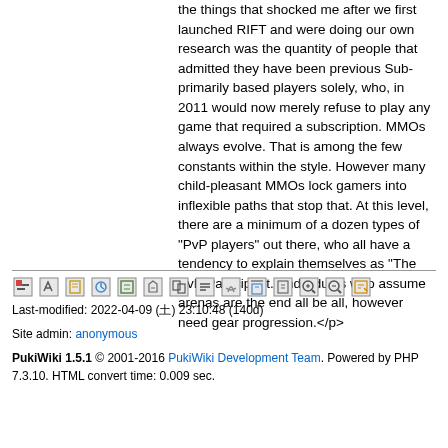the things that shocked me after we first launched RIFT and were doing our own research was the quantity of people that admitted they have been previous Sub-primarily based players solely, who, in 2011 would now merely refuse to play any game that required a subscription. MMOs always evolve. That is among the few constants within the style. However many child-pleasant MMOs lock gamers into inflexible paths that stop that. At this level, there are a minimum of a dozen types of "PvP players" out there, who all have a tendency to explain themselves as "The PvP Participant." Individuals who assume arenas are the end all be all, however need gear progression.</p>
Last-modified: 2022-04-09 (土) 23:10:48 (140d)
Site admin: anonymous
PukiWiki 1.5.1 © 2001-2016 PukiWiki Development Team. Powered by PHP 7.3.10. HTML convert time: 0.009 sec.